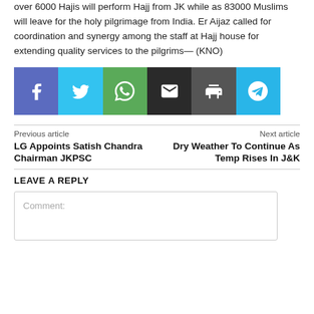over 6000 Hajis will perform Hajj from JK while as 83000 Muslims will leave for the holy pilgrimage from India. Er Aijaz called for coordination and synergy among the staff at Hajj house for extending quality services to the pilgrims— (KNO)
[Figure (infographic): Social sharing buttons: Facebook (blue-purple), Twitter (light blue), WhatsApp (green), Email (dark), Print (grey), Telegram (blue)]
Previous article
LG Appoints Satish Chandra Chairman JKPSC
Next article
Dry Weather To Continue As Temp Rises In J&K
LEAVE A REPLY
Comment: